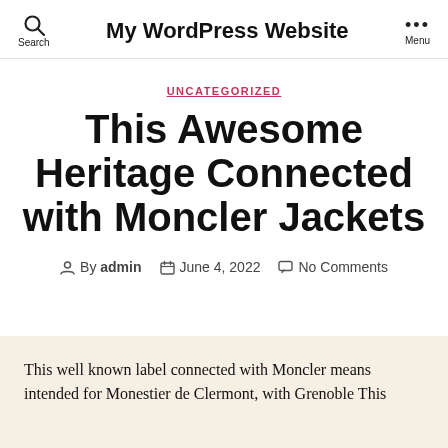My WordPress Website
UNCATEGORIZED
This Awesome Heritage Connected with Moncler Jackets
By admin  June 4, 2022  No Comments
This well known label connected with Moncler means intended for Monestier de Clermont, with Grenoble This